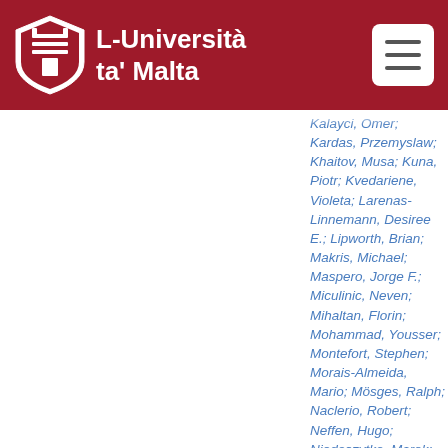L-Università ta' Malta
Kalayci, Omer; Kardas, Przemyslaw; Khaitov, Musa; Kuna, Piotr; Kvedariene, Violeta; Larenas-Linnemann, Desiree E.; Lipworth, Brian; Makris, Michael; Maspero, Jorge F.; Miculinic, Neven; Mihaltan, Florin; Mohammad, Yousser; Montefort, Stephen; Morais-Almeida, Mario; Mösges, Ralph; Naclerio, Robert; Neffen, Hugo; Niedoszytko, Marek; Hehir, Robyn E. O';